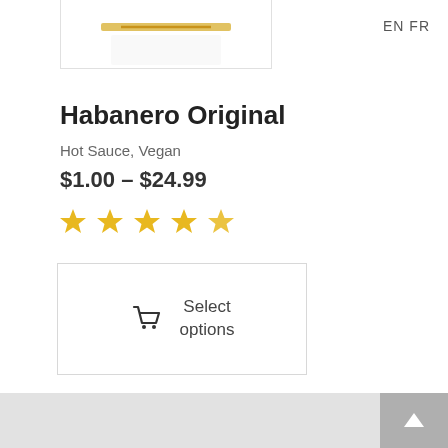EN FR
[Figure (photo): Partial product image of a bottle, showing a yellow/gold label, cropped at the top]
Habanero Original
Hot Sauce, Vegan
$1.00 – $24.99
[Figure (other): Five gold star rating icons]
[Figure (other): Select options button with shopping cart icon, inside a bordered box]
[Figure (other): Carousel pagination dots: first dot active (gold), three inactive (grey)]
Back to top arrow button